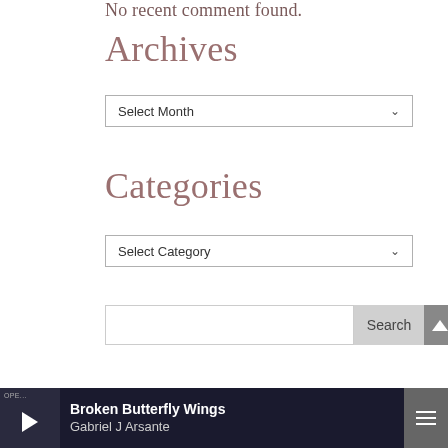No recent comment found.
Archives
Select Month
Categories
Select Category
Search
Today-ish In History
Broken Butterfly Wings
Gabriel J Arsante